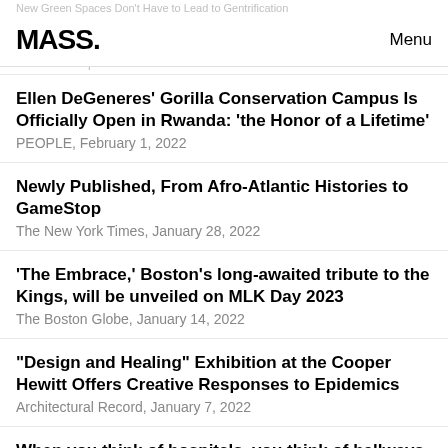MASS. | Menu
New Green Spaces Don't Have to Lead to Gentrification
Ellen DeGeneres' Gorilla Conservation Campus Is Officially Open in Rwanda: 'the Honor of a Lifetime'
PEOPLE, February 1, 2022
Newly Published, From Afro-Atlantic Histories to GameStop
The New York Times, January 28, 2022
'The Embrace,' Boston's long-awaited tribute to the Kings, will be unveiled on MLK Day 2023
The Boston Globe, January 14, 2022
“Design and Healing” Exhibition at the Cooper Hewitt Offers Creative Responses to Epidemics
Architectural Record, January 7, 2022
When you think of hospitals, you think of hallways. Here’s why we designed a hospital without them.
Fast Company, January 3, 2022